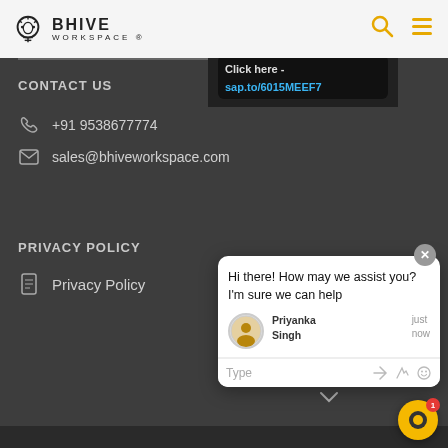[Figure (logo): BHIVE WORKSPACE logo with lightbulb icon]
[Figure (screenshot): Partial dark overlay banner top-right with italic text about discussing and startup/creative topics, and a link: Click here - sap.to/6015MEEF7]
CONTACT US
+91 9538677774
sales@bhiveworkspace.com
PRIVACY POLICY
Privacy Policy
[Figure (screenshot): Chat widget popup with message: Hi there! How may we assist you? I'm sure we can help. Sender: Priyanka Singh, just now. Input row with Type placeholder and emoji/attachment icons.]
[Figure (other): Yellow circular chat launcher button with red badge showing 1]